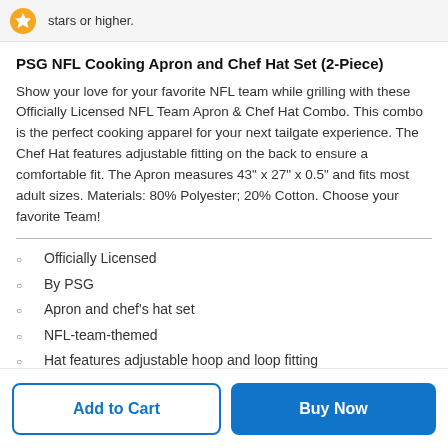stars or higher.
PSG NFL Cooking Apron and Chef Hat Set (2-Piece)
Show your love for your favorite NFL team while grilling with these Officially Licensed NFL Team Apron & Chef Hat Combo. This combo is the perfect cooking apparel for your next tailgate experience. The Chef Hat features adjustable fitting on the back to ensure a comfortable fit. The Apron measures 43" x 27" x 0.5" and fits most adult sizes. Materials: 80% Polyester; 20% Cotton. Choose your favorite Team!
Officially Licensed
By PSG
Apron and chef's hat set
NFL-team-themed
Hat features adjustable hoop and loop fitting
Product materials: 80% polyester, 20% cotton